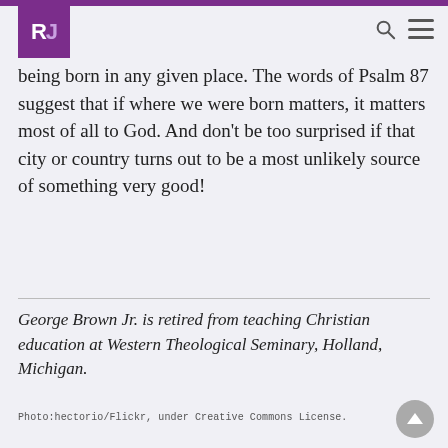RJ
being born in any given place. The words of Psalm 87 suggest that if where we were born matters, it matters most of all to God. And don't be too surprised if that city or country turns out to be a most unlikely source of something very good!
George Brown Jr. is retired from teaching Christian education at Western Theological Seminary, Holland, Michigan.
Photo:hectorio/Flickr, under Creative Commons License.